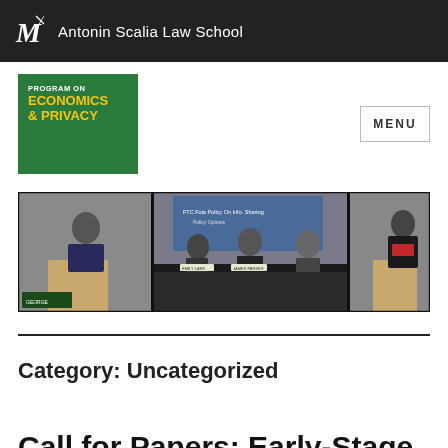Antonin Scalia Law School
[Figure (logo): Program on Economics & Privacy green logo box]
MENU
[Figure (photo): Three-panel photo strip showing speakers at a law school event: a man at a podium with George Mason branding, a panel of three men seated at a table with a projection screen, and a woman speaking at a podium]
Category: Uncategorized
Call for Papers: Early-Stage